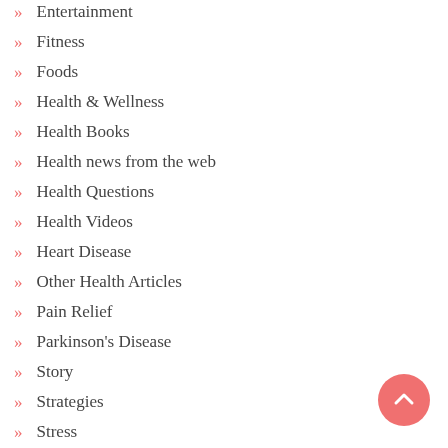Entertainment
Fitness
Foods
Health & Wellness
Health Books
Health news from the web
Health Questions
Health Videos
Heart Disease
Other Health Articles
Pain Relief
Parkinson's Disease
Story
Strategies
Stress